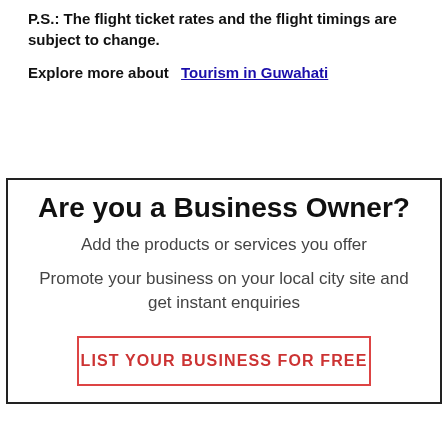P.S.: The flight ticket rates and the flight timings are subject to change.
Explore more about  Tourism in Guwahati
Are you a Business Owner?
Add the products or services you offer
Promote your business on your local city site and get instant enquiries
LIST YOUR BUSINESS FOR FREE